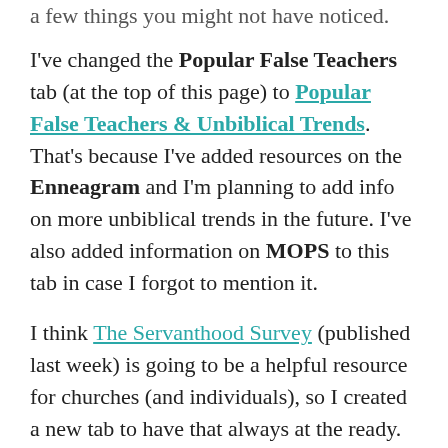a few things you might not have noticed.
I've changed the Popular False Teachers tab (at the top of this page) to Popular False Teachers & Unbiblical Trends. That's because I've added resources on the Enneagram and I'm planning to add info on more unbiblical trends in the future. I've also added information on MOPS to this tab in case I forgot to mention it.
I think The Servanthood Survey (published last week) is going to be a helpful resource for churches (and individuals), so I created a new tab to have that always at the ready.
[Figure (illustration): Decorative card with olive branch illustration at top, cursive text reading 'Living Proof you should follow Beth -no- Moore']
If you've used my discernment article on Beth Moore lately, you may have noticed that it has a new